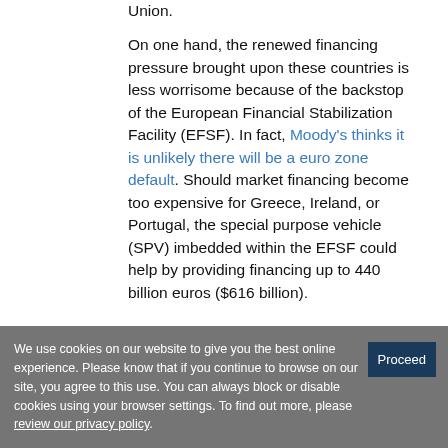Union. On one hand, the renewed financing pressure brought upon these countries is less worrisome because of the backstop of the European Financial Stabilization Facility (EFSF). In fact, Moody's thinks it is unlikely there will be a euro zone default. Should market financing become too expensive for Greece, Ireland, or Portugal, the special purpose vehicle (SPV) imbedded within the EFSF could help by providing financing up to 440 billion euros ($616 billion).
We use cookies on our website to give you the best online experience. Please know that if you continue to browse on our site, you agree to this use. You can always block or disable cookies using your browser settings. To find out more, please review our privacy policy.